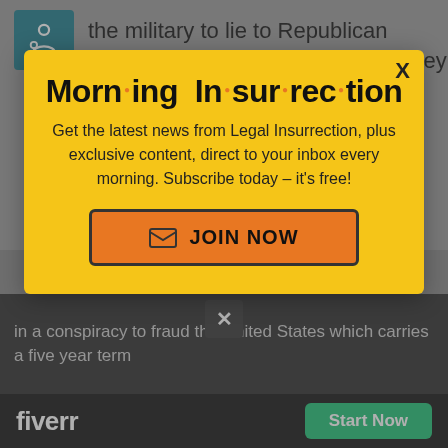the military to lie to Republican leadership if they don't like what they tell them to do.
[Figure (screenshot): Morning Insurrection newsletter popup modal with yellow background, bold title 'Morn·ing In·sur·rec·tion', subscription text, and JOIN NOW button]
in a conspiracy to fraud the United States which carries a five year term
[Figure (logo): Fiverr logo and Start Now button in black bar at bottom]